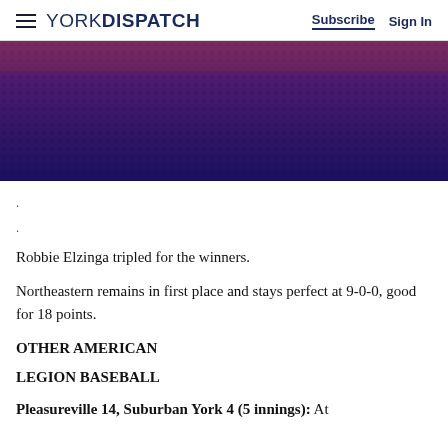YORK DISPATCH — Subscribe  Sign In
[Figure (photo): Close-up photo of dark blue/purple fabric or jersey texture with a reddish-purple gradient at the top]
.
.
Robbie Elzinga tripled for the winners.
Northeastern remains in first place and stays perfect at 9-0-0, good for 18 points.
OTHER AMERICAN
LEGION BASEBALL
Pleasureville 14, Suburban York 4 (5 innings): At